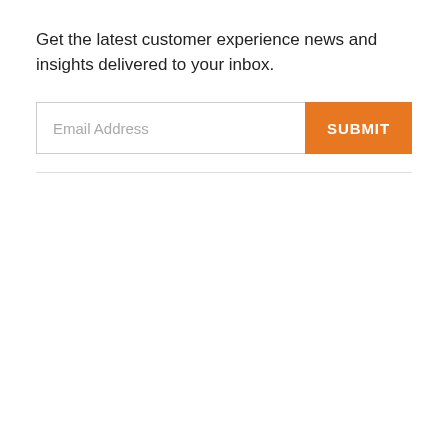Get the latest customer experience news and insights delivered to your inbox.
[Figure (other): Email subscription form with an email address input field and an orange SUBMIT button]
Email Address
SUBMIT